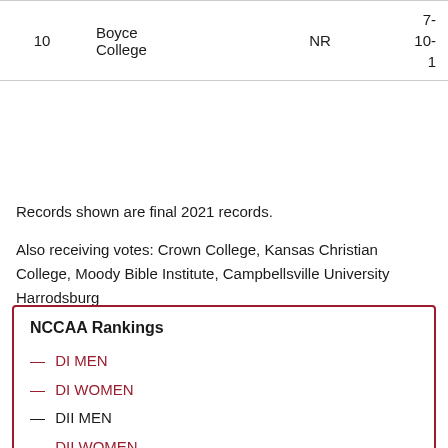| Rank | School | Poll | Record |
| --- | --- | --- | --- |
| 10 | Boyce College | NR | 7-10-1 |
Records shown are final 2021 records.
Also receiving votes: Crown College, Kansas Christian College, Moody Bible Institute, Campbellsville University Harrodsburg
NCCAA Rankings
— DI MEN
— DI WOMEN
— DII MEN
— DII WOMEN